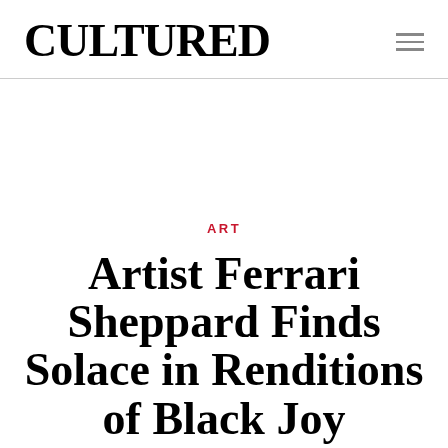CULTURED
ART
Artist Ferrari Sheppard Finds Solace in Renditions of Black Joy